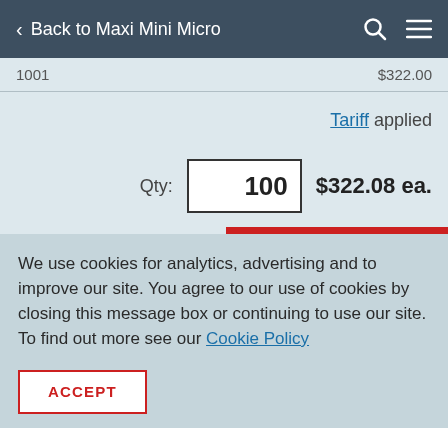< Back to Maxi Mini Micro
1001   $322.00
Tariff applied
Qty: 100   $322.08 ea.
We use cookies for analytics, advertising and to improve our site. You agree to our use of cookies by closing this message box or continuing to use our site. To find out more see our Cookie Policy
ACCEPT